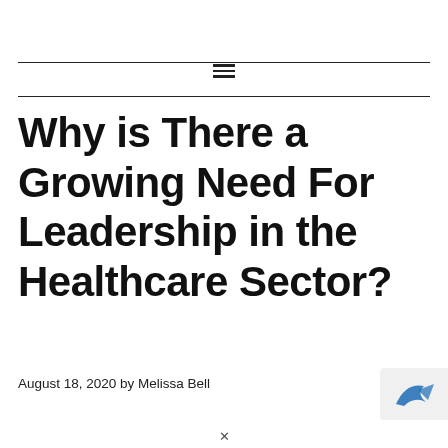≡
Why is There a Growing Need For Leadership in the Healthcare Sector?
August 18, 2020 by Melissa Bell
[Figure (logo): Partial logo image in bottom-right corner, blue bird/arrow icon on light gray background]